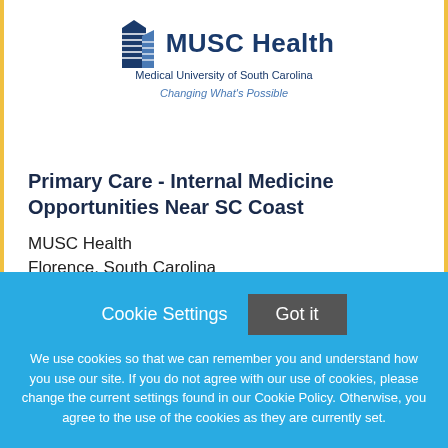[Figure (logo): MUSC Health logo with building icon, text 'MUSC Health', subtitle 'Medical University of South Carolina', tagline 'Changing What's Possible']
Primary Care - Internal Medicine Opportunities Near SC Coast
MUSC Health
Florence, South Carolina
Cookie Settings
Got it
We use cookies so that we can remember you and understand how you use our site. If you do not agree with our use of cookies, please change the current settings found in our Cookie Policy. Otherwise, you agree to the use of the cookies as they are currently set.